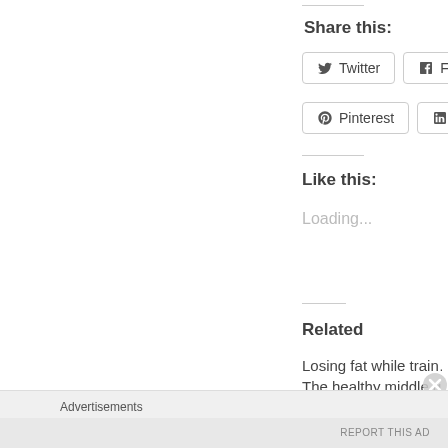Share this:
Twitter
Facebook
Pinterest
LinkedIn
Like this:
Loading...
Related
Losing fat while train... The healthy middle g...
October 4, 2018
Advertisements
REPORT THIS AD